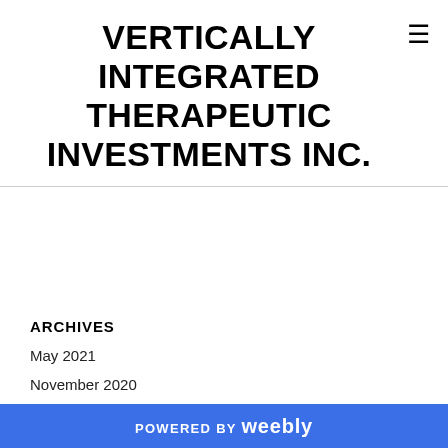VERTICALLY INTEGRATED THERAPEUTIC INVESTMENTS INC.
ARCHIVES
May 2021
November 2020
October 2020
CATEGORIES
All
RSS Feed
Copyright © 2020 CIHG INC
POWERED BY weebly